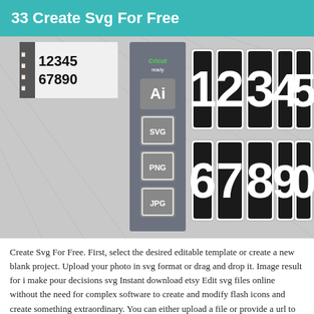33 Create Svg For Free
[Figure (illustration): An illustration showing large bold varsity-style numbers 1 2 3 4 5 on the top row and 6 7 8 9 0 on the bottom row, black with white outlines, on a light background with diagonal street map lines. On the left side there is a vertical banner showing Cricut Ready logo and file type icons: Ai, SVG, PNG, JPG. In the top left corner there is a small preview of the same numbers in smaller size.]
Create Svg For Free. First, select the desired editable template or create a new blank project. Upload your photo in svg format or drag and drop it. Image result for i make pour decisions svg Instant download etsy Edit svg files online without the need for complex software to create and modify flash icons and create something extraordinary. You can either upload a file or provide a url to an image. Svgbackgrounds.com has a collection Read more